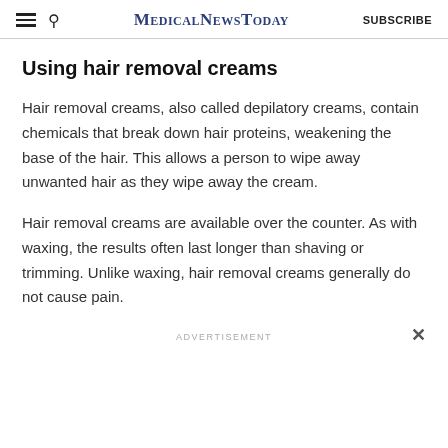MedicalNewsToday | SUBSCRIBE
Using hair removal creams
Hair removal creams, also called depilatory creams, contain chemicals that break down hair proteins, weakening the base of the hair. This allows a person to wipe away unwanted hair as they wipe away the cream.
Hair removal creams are available over the counter. As with waxing, the results often last longer than shaving or trimming. Unlike waxing, hair removal creams generally do not cause pain.
ADVERTISEMENT